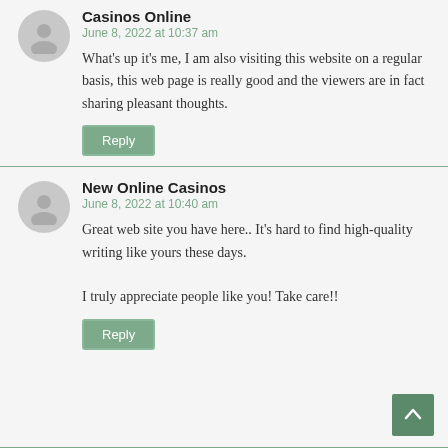Casinos Online
June 8, 2022 at 10:37 am
What's up it's me, I am also visiting this website on a regular basis, this web page is really good and the viewers are in fact sharing pleasant thoughts.
Reply
New Online Casinos
June 8, 2022 at 10:40 am
Great web site you have here.. It's hard to find high-quality writing like yours these days.

I truly appreciate people like you! Take care!!
Reply